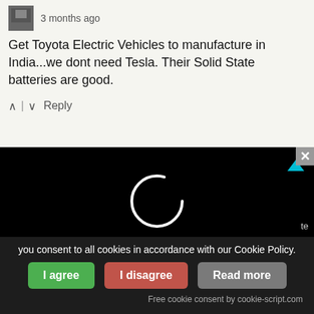3 months ago
Get Toyota Electric Vehicles to manufacture in India...we dont need Tesla. Their Solid State batteries are good.
^ | v  Reply
[Figure (screenshot): Black video player area with a white loading spinner circle in the center and a cyan triangle indicator in the top right corner. A close (x) button appears at the top right edge of the player.]
te
you consent to all cookies in accordance with our Cookie Policy.
I agree
I disagree
Read more
Free cookie consent by cookie-script.com